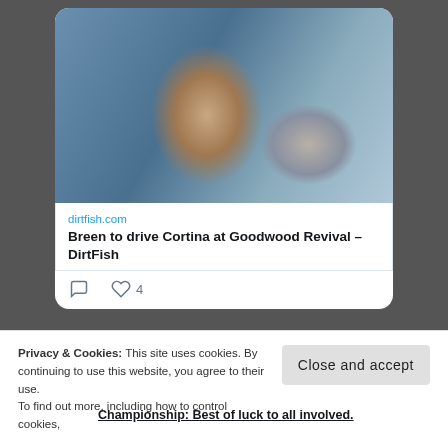[Figure (photo): Photo of a rally driver wearing a Red Bull cap, looking over his shoulder, with other people blurred in the background]
dirtfish.com
Breen to drive Cortina at Goodwood Revival – DirtFish
4
Motorsport.ie Retweeted
MIPresiden... @MIPreside... · Aug 19
Privacy & Cookies: This site uses cookies. By continuing to use this website, you agree to their use. To find out more, including how to control cookies,
Close and accept
Championship: Best of luck to all involved.